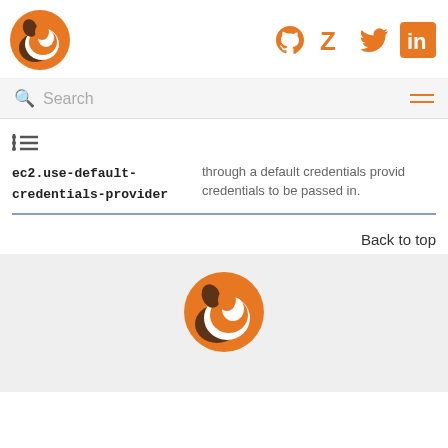[Figure (logo): Orange and brown camel/animal logo circle in header top-left]
[Figure (logo): Social media icons: GitHub, Zulip, Twitter, LinkedIn in orange]
Search
[Figure (other): Hamburger menu icon (three orange lines)]
[Figure (other): List/table of contents icon]
| Command | Description |
| --- | --- |
| ec2.use-default-credentials-provider | through a default credentials provider credentials to be passed in. |
Back to top
[Figure (logo): Orange and brown camel/animal logo circle in footer]